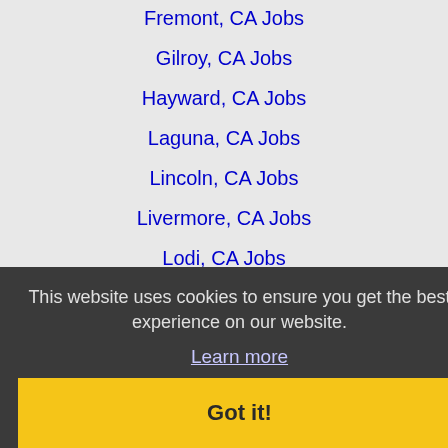Fremont, CA Jobs
Gilroy, CA Jobs
Hayward, CA Jobs
Laguna, CA Jobs
Lincoln, CA Jobs
Livermore, CA Jobs
Lodi, CA Jobs
Manteca, CA Jobs
Merced, CA Jobs
Milpitas, CA Jobs
Modesto, CA Jobs
This website uses cookies to ensure you get the best experience on our website.
Learn more
North Highlands, CA Jobs
Novato, CA Jobs
Oakland, CA Jobs
Palo Alto, CA Jobs